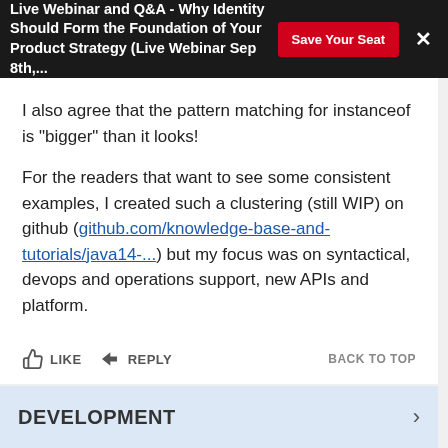Live Webinar and Q&A - Why Identity Should Form the Foundation of Your Product Strategy (Live Webinar Sep 8th,... | Save Your Seat | X
I also agree that the pattern matching for instanceof is "bigger" than it looks!

For the readers that want to see some consistent examples, I created such a clustering (still WIP) on github (github.com/knowledge-base-and-tutorials/java14-...) but my focus was on syntactical, devops and operations support, new APIs and platform.
LIKE   REPLY   BACK TO TOP
DEVELOPMENT